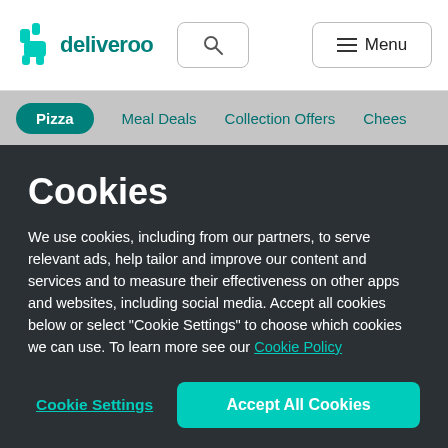[Figure (logo): Deliveroo logo with kangaroo icon and text 'deliveroo']
deliveroo [search] [Menu]
Pizza
Meal Deals
Collection Offers
Chees
Cookies
We use cookies, including from our partners, to serve relevant ads, help tailor and improve our content and services and to measure their effectiveness on other apps and websites, including social media. Accept all cookies below or select “Cookie Settings” to choose which cookies we can use. To learn more see our Cookie Policy
Cookie Settings
Accept All Cookies